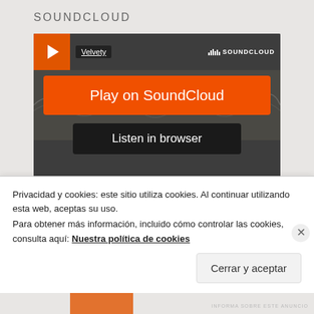SOUNDCLOUD
[Figure (screenshot): SoundCloud embedded player showing 'Play on SoundCloud' orange button and 'Listen in browser' dark button, with track name 'Velvety' and SoundCloud logo]
Privacy policy   ® 2020 Matinée Recordings
Privacidad y cookies: este sitio utiliza cookies. Al continuar utilizando esta web, aceptas su uso.
Para obtener más información, incluido cómo controlar las cookies, consulta aquí: Nuestra política de cookies
Cerrar y aceptar